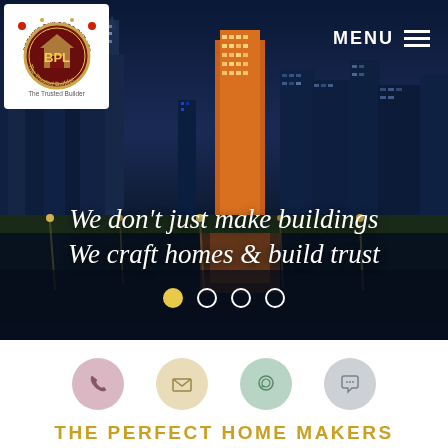[Figure (screenshot): Website hero section showing a night cityscape with illuminated skyscrapers reflected in water. TBPL (The Trusted Builder) logo in top-left corner, MENU button top-right. Overlay tagline reads 'We don't just make buildings / We craft homes & build trust'. Four carousel dots at bottom.]
We don't just make buildings
We craft homes & build trust
[Figure (infographic): Bottom section with four circular icons: phone (pink), email (yellow), WhatsApp (green), chat (grey)]
THE PERFECT HOME MAKERS